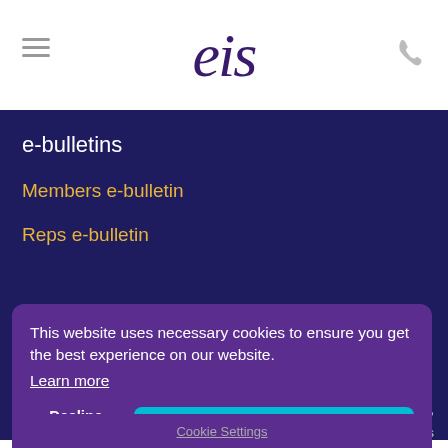[Figure (logo): EIS logo in dark purple italic serif font]
e-bulletins
Members e-bulletin
Reps e-bulletin
This website uses necessary cookies to ensure you get the best experience on our website. Learn more
Decline unnecessary cookies
Allow all cookies